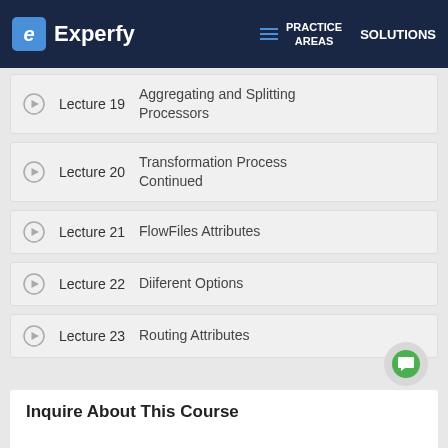Experfy — PRACTICE AREAS | SOLUTIONS
Lecture 19 — Aggregating and Splitting Processors
Lecture 20 — Transformation Process Continued
Lecture 21 — FlowFiles Attributes
Lecture 22 — Diiferent Options
Lecture 23 — Routing Attributes
Inquire About This Course